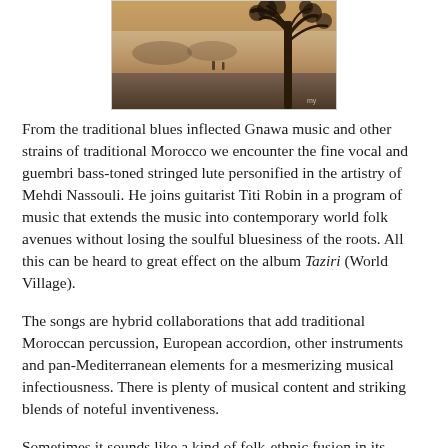[Figure (photo): A misty outdoor landscape scene with a large tree silhouette on the right, foggy background with distant figures, warm sepia-toned light, dusty path in foreground.]
From the traditional blues inflected Gnawa music and other strains of traditional Morocco we encounter the fine vocal and guembri bass-toned stringed lute personified in the artistry of Mehdi Nassouli. He joins guitarist Titi Robin in a program of music that extends the music into contemporary world folk avenues without losing the soulful bluesiness of the roots. All this can be heard to great effect on the album Taziri (World Village).
The songs are hybrid collaborations that add traditional Moroccan percussion, European accordion, other instruments and pan-Mediterranean elements for a mesmerizing musical infectiousness. There is plenty of musical content and striking blends of noteful inventiveness.
Sometimes it sounds like a kind of folk-ethnic fusion in its elaborateness. Other times it digs deeply into the centuries of intercultural continuum...